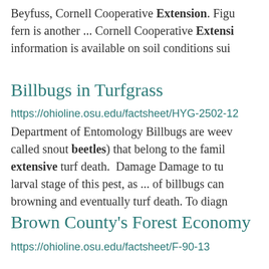Beyfuss, Cornell Cooperative Extension. Figu fern is another ... Cornell Cooperative Extensi information is available on soil conditions sui
Billbugs in Turfgrass
https://ohioline.osu.edu/factsheet/HYG-2502-12
Department of Entomology Billbugs are weev called snout beetles) that belong to the famil extensive turf death.  Damage Damage to tu larval stage of this pest, as ... of billbugs can browning and eventually turf death. To diagn
Brown County's Forest Economy
https://ohioline.osu.edu/factsheet/F-90-13